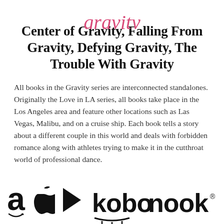[Figure (illustration): Partial pink/magenta cursive script at top, partially cropped]
Center of Gravity, Falling From Gravity, Defying Gravity, The Trouble With Gravity
All books in the Gravity series are interconnected standalones. Originally the Love in LA series, all books take place in the Los Angeles area and feature other locations such as Las Vegas, Malibu, and on a cruise ship. Each book tells a story about a different couple in this world and deals with forbidden romance along with athletes trying to make it in the cutthroat world of professional dance.
[Figure (logo): Retailer logos: Amazon, Apple, Google Play, Kobo, Nook, and a partially visible logo at bottom]